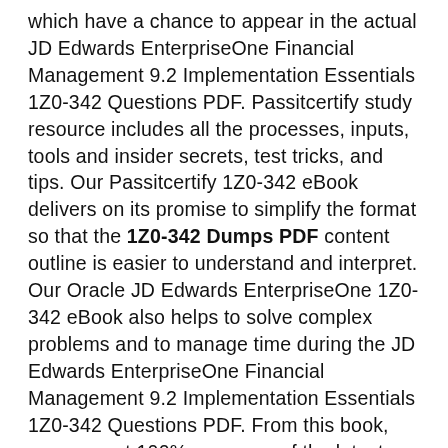which have a chance to appear in the actual JD Edwards EnterpriseOne Financial Management 9.2 Implementation Essentials 1Z0-342 Questions PDF. Passitcertify study resource includes all the processes, inputs, tools and insider secrets, test tricks, and tips. Our Passitcertify 1Z0-342 eBook delivers on its promise to simplify the format so that the 1Z0-342 Dumps PDF content outline is easier to understand and interpret. Our Oracle JD Edwards EnterpriseOne 1Z0-342 eBook also helps to solve complex problems and to manage time during the JD Edwards EnterpriseOne Financial Management 9.2 Implementation Essentials 1Z0-342 Questions PDF. From this book, you can get 100% coverage of the latest principles and certification objectives in our 1Z0-342 eBook's latest edition. The 1Z0-342 product can be used on mobile, laptops, and tablets, and you have an option to use it anywhere and anytime. Passitcertify also updates the content of the eBook